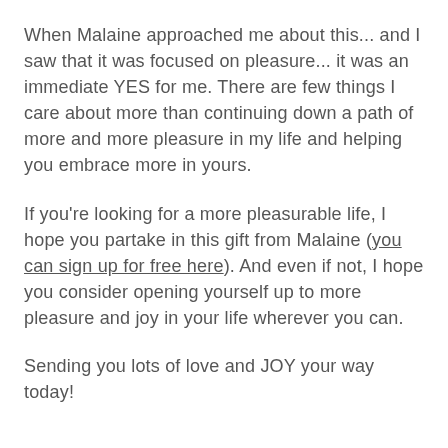When Malaine approached me about this... and I saw that it was focused on pleasure... it was an immediate YES for me. There are few things I care about more than continuing down a path of more and more pleasure in my life and helping you embrace more in yours.
If you're looking for a more pleasurable life, I hope you partake in this gift from Malaine (you can sign up for free here). And even if not, I hope you consider opening yourself up to more pleasure and joy in your life wherever you can.
Sending you lots of love and JOY your way today!